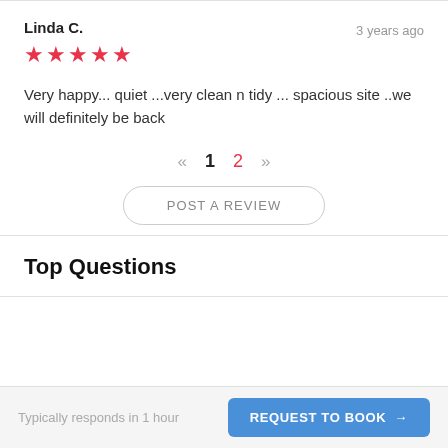Linda C.
★★★★★ (5 stars)
3 years ago
Very happy... quiet ...very clean n tidy ... spacious site ..we will definitely be back
« 1 2 »
POST A REVIEW
Top Questions
Typically responds in 1 hour
REQUEST TO BOOK →